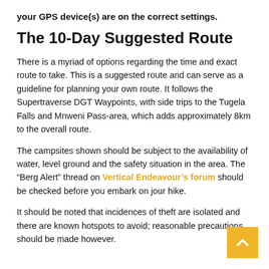your GPS device(s) are on the correct settings.
The 10-Day Suggested Route
There is a myriad of options regarding the time and exact route to take. This is a suggested route and can serve as a guideline for planning your own route. It follows the Supertraverse DGT Waypoints, with side trips to the Tugela Falls and Mnweni Pass-area, which adds approximately 8km to the overall route.
The campsites shown should be subject to the availability of water, level ground and the safety situation in the area. The “Berg Alert” thread on Vertical Endeavour’s forum should be checked before you embark on jour hike.
It should be noted that incidences of theft are isolated and there are known hotspots to avoid; reasonable precautions should be made however.